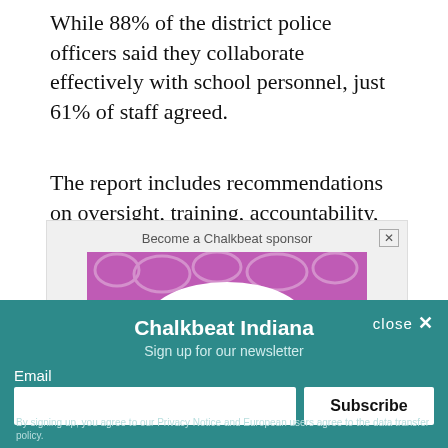While 88% of the district police officers said they collaborate effectively with school personnel, just 61% of staff agreed.
The report includes recommendations on oversight, training, accountability, and more.
[Figure (other): Advertisement box with 'Become a Chalkbeat sponsor' label and a pink/purple decorative banner image with a close X button]
[Figure (other): Newsletter signup overlay for Chalkbeat Indiana with email input and Subscribe button on teal background]
By signing up, you agree to our Privacy Notice and European users agree to the data transfer policy.